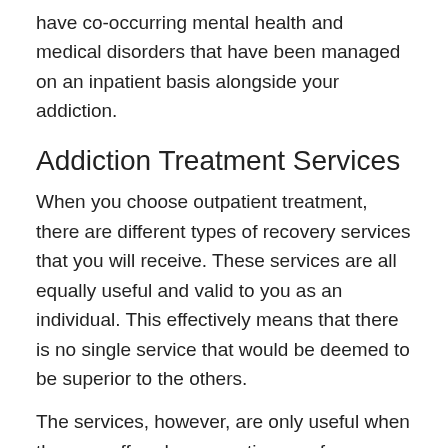have co-occurring mental health and medical disorders that have been managed on an inpatient basis alongside your addiction.
Addiction Treatment Services
When you choose outpatient treatment, there are different types of recovery services that you will receive. These services are all equally useful and valid to you as an individual. This effectively means that there is no single service that would be deemed to be superior to the others.
The services, however, are only useful when they are offered on a continuum of care. That said, the level of treatment and intensity of rehabilitation will not have any bearing on the care that you receive.
For more about outpatient treatment, you will